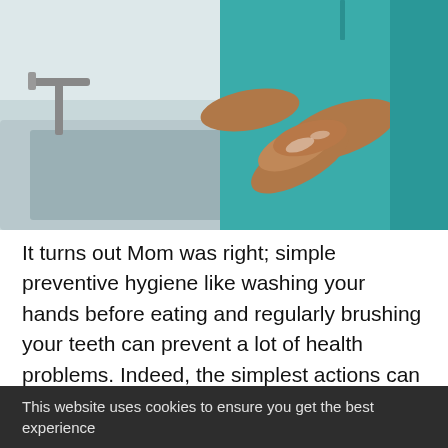[Figure (photo): A person in teal/green medical scrubs washing hands at a sink, with soapy water visible on hands and forearms. The background shows a white clinical sink area.]
It turns out Mom was right; simple preventive hygiene like washing your hands before eating and regularly brushing your teeth can prevent a lot of health problems. Indeed, the simplest actions can have outsized benefits, and some new research from Google shows that the same holds true for security
This website uses cookies to ensure you get the best experience